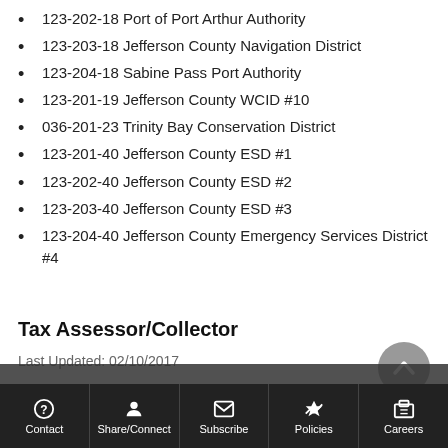123-202-18 Port of Port Arthur Authority
123-203-18 Jefferson County Navigation District
123-204-18 Sabine Pass Port Authority
123-201-19 Jefferson County WCID #10
036-201-23 Trinity Bay Conservation District
123-201-40 Jefferson County ESD #1
123-202-40 Jefferson County ESD #2
123-203-40 Jefferson County ESD #3
123-204-40 Jefferson County Emergency Services District #4
Tax Assessor/Collector
Last Updated: 02/10/2017
Contact  Share/Connect  Subscribe  Policies  Careers